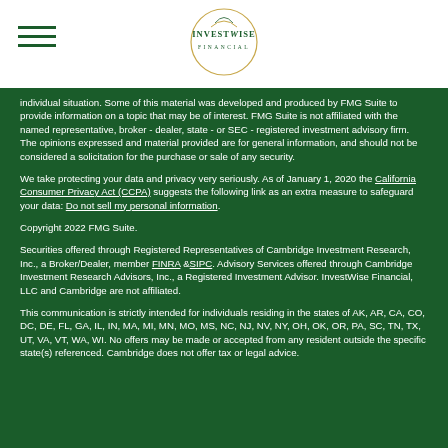InvestWise Financial logo and hamburger menu
individual situation. Some of this material was developed and produced by FMG Suite to provide information on a topic that may be of interest. FMG Suite is not affiliated with the named representative, broker - dealer, state - or SEC - registered investment advisory firm. The opinions expressed and material provided are for general information, and should not be considered a solicitation for the purchase or sale of any security.
We take protecting your data and privacy very seriously. As of January 1, 2020 the California Consumer Privacy Act (CCPA) suggests the following link as an extra measure to safeguard your data: Do not sell my personal information.
Copyright 2022 FMG Suite.
Securities offered through Registered Representatives of Cambridge Investment Research, Inc., a Broker/Dealer, member FINRA &SIPC. Advisory Services offered through Cambridge Investment Research Advisors, Inc., a Registered Investment Advisor. InvestWise Financial, LLC and Cambridge are not affiliated.
This communication is strictly intended for individuals residing in the states of AK, AR, CA, CO, DC, DE, FL, GA, IL, IN, MA, MI, MN, MO, MS, NC, NJ, NV, NY, OH, OK, OR, PA, SC, TN, TX, UT, VA, VT, WA, WI. No offers may be made or accepted from any resident outside the specific state(s) referenced. Cambridge does not offer tax or legal advice.